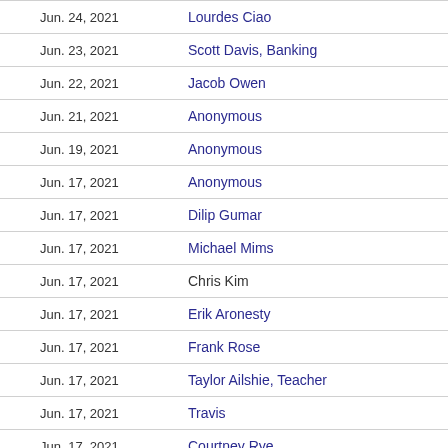| Date | Name |
| --- | --- |
| Jun. 24, 2021 | Lourdes Ciao |
| Jun. 23, 2021 | Scott Davis, Banking |
| Jun. 22, 2021 | Jacob Owen |
| Jun. 21, 2021 | Anonymous |
| Jun. 19, 2021 | Anonymous |
| Jun. 17, 2021 | Anonymous |
| Jun. 17, 2021 | Dilip Gumar |
| Jun. 17, 2021 | Michael Mims |
| Jun. 17, 2021 | Chris Kim |
| Jun. 17, 2021 | Erik Aronesty |
| Jun. 17, 2021 | Frank Rose |
| Jun. 17, 2021 | Taylor Ailshie, Teacher |
| Jun. 17, 2021 | Travis |
| Jun. 17, 2021 | Courtney Rye |
| Jun. 17, 2021 | Jason Green |